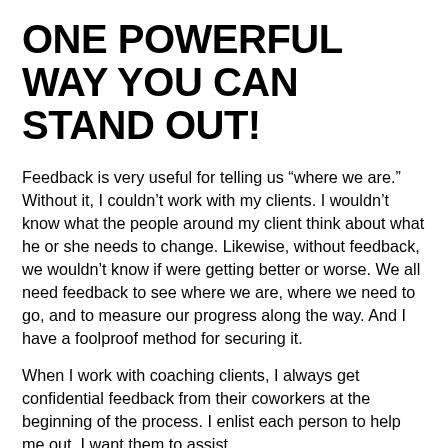ONE POWERFUL WAY YOU CAN STAND OUT!
Feedback is very useful for telling us “where we are.” Without it, I couldn’t work with my clients. I wouldn’t know what the people around my client think about what he or she needs to change. Likewise, without feedback, we wouldn’t know if were getting better or worse. We all need feedback to see where we are, where we need to go, and to measure our progress along the way. And I have a foolproof method for securing it.
When I work with coaching clients, I always get confidential feedback from their coworkers at the beginning of the process. I enlist each person to help me out. I want them to assist,